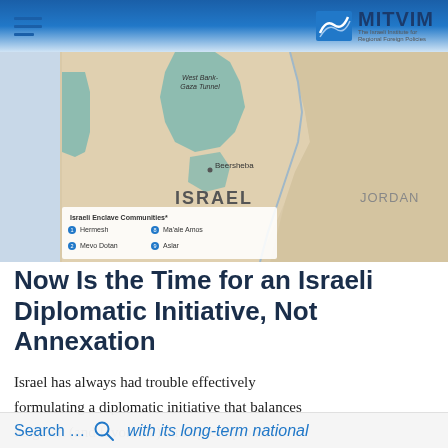MITVIM – The Israeli Institute for Regional Foreign Policies
[Figure (map): A map showing Israel and Jordan, with the West Bank-Gaza Tunnel labeled, Beersheba city marked, and Israeli Enclave Communities legend listing 1. Hermesh, 2. Mevo Dotan, 8. Ma'ale Amos, 9. Aslar. Teal/green areas represent Palestinian territories within Israel's borders.]
Now Is the Time for an Israeli Diplomatic Initiative, Not Annexation
Israel has always had trouble effectively formulating a diplomatic initiative that balances its given (and favorable) strategic-diplomatic with its long-term national